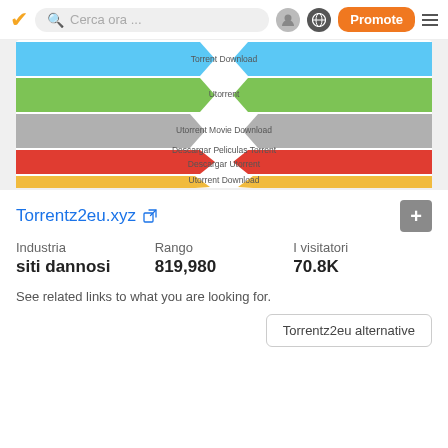Cerca ora ...  Promote
[Figure (infographic): A horizontal bar/arrow infographic on a light background showing colored arrow-shaped bars on the left and right sides with text labels in the center: Torrent Download, Utorrent, Utorrent Movie Download, Descargar Peliculas Torrent, Descargar Utorrent, Utorrent Download. Colors: blue (top), green, gray, red, yellow/gold.]
Torrentz2eu.xyz
Industria
siti dannosi
Rango
819,980
I visitatori
70.8K
See related links to what you are looking for.
Torrentz2eu alternative